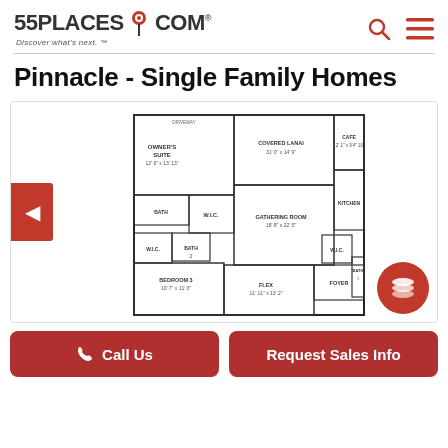55PLACES.COM - Discover what's next.
Pinnacle - Single Family Homes
[Figure (other): Floor plan diagram for Pinnacle Single Family Homes showing Owner's Suite, Covered Lanai, Cafe, Gathering Room, Kitchen, Bedroom 3, Flex, Foyer, Bath, and W.I.C. rooms with dimensions]
Call Us
Request Sales Info